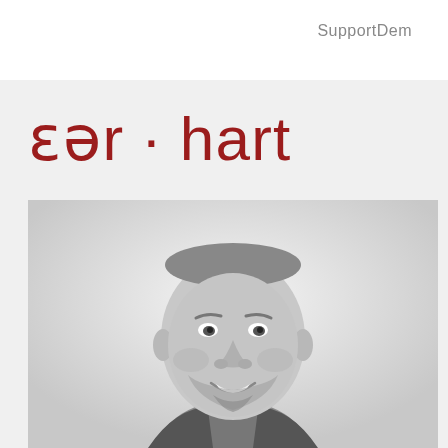SupportDem
ɛər · hart
[Figure (photo): Black and white professional headshot of a smiling bald man with a short beard, wearing a dark zip-up fleece jacket over a collared shirt, against a light background.]